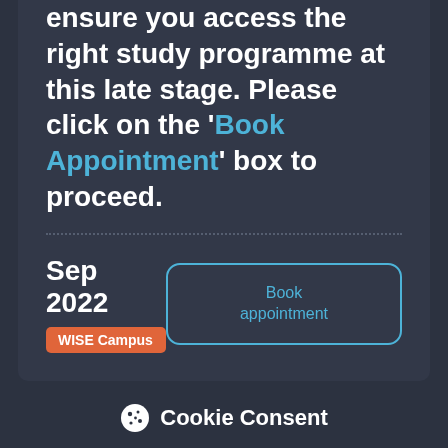ensure you access the right study programme at this late stage. Please click on the 'Book Appointment' box to proceed.
Sep 2022
WISE Campus
Book appointment
Cookie Consent
By continuing to use this site, you agree to our use of cookies. View Our Cookie Statement
Ok